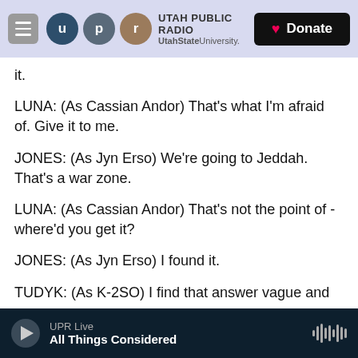[Figure (screenshot): Utah Public Radio navigation bar with hamburger menu, UPR logo circles (u, p, r), Utah Public Radio / UtahState University text, and a Donate button]
it.
LUNA: (As Cassian Andor) That's what I'm afraid of. Give it to me.
JONES: (As Jyn Erso) We're going to Jeddah. That's a war zone.
LUNA: (As Cassian Andor) That's not the point of - where'd you get it?
JONES: (As Jyn Erso) I found it.
TUDYK: (As K-2SO) I find that answer vague and
[Figure (screenshot): Audio player bar showing UPR Live - All Things Considered with play button and waveform icon]